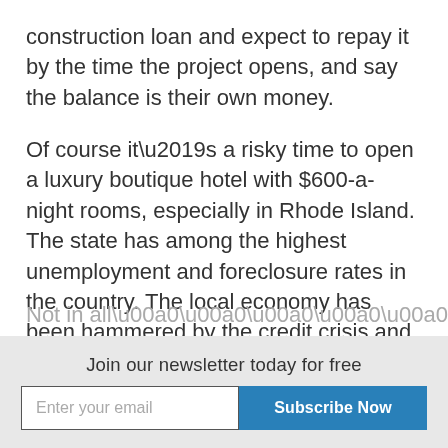construction loan and expect to repay it by the time the project opens, and say the balance is their own money.
Of course it’s a risky time to open a luxury boutique hotel with $600-a-night rooms, especially in Rhode Island. The state has among the highest unemployment and foreclosure rates in the country. The local economy has been hammered by the credit crisis and vanishing manufacturing jobs. Ocean House will also be competing for visitors against East Coast destinations with instant name recognition.
Not in all…
Join our newsletter today for free
Enter your email
Subscribe Now